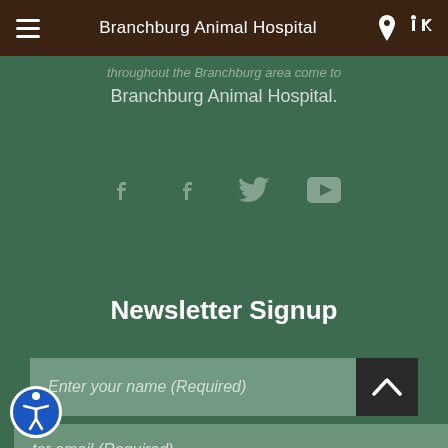Branchburg Animal Hospital
throughout the Branchburg area come to Branchburg Animal Hospital.
[Figure (infographic): Social media icons: two Facebook icons, Twitter bird icon, YouTube play button icon, displayed in muted green/grey on green background]
Newsletter Signup
Enter your name (Required)
Enter email (Required)